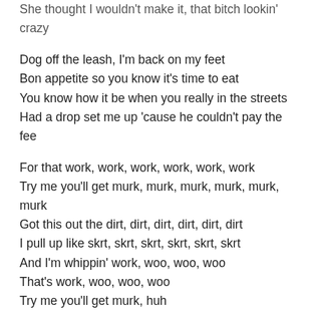She thought I wouldn't make it, that bitch lookin' crazy
Dog off the leash, I'm back on my feet
Bon appetite so you know it's time to eat
You know how it be when you really in the streets
Had a drop set me up 'cause he couldn't pay the fee
For that work, work, work, work, work, work
Try me you'll get murk, murk, murk, murk, murk, murk
Got this out the dirt, dirt, dirt, dirt, dirt, dirt
I pull up like skrt, skrt, skrt, skrt, skrt, skrt
And I'm whippin' work, woo, woo, woo
That's work, woo, woo, woo
Try me you'll get murk, huh
Got this out the dirt, yeah
I pull up like skrt, skrt, skrt, skrt, skrt